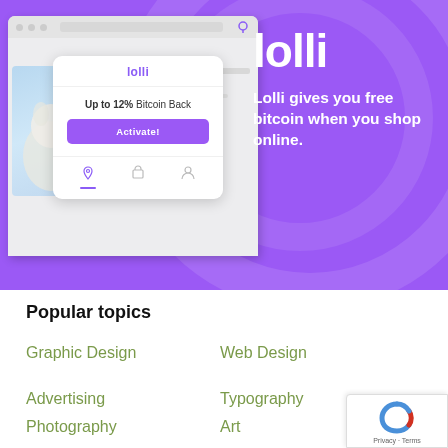[Figure (screenshot): Lolli browser extension promotional banner on purple background. Shows a browser mockup with Lolli popup card displaying 'Up to 12% Bitcoin Back' and 'Activate!' button. Right side shows Lolli logo and tagline 'Lolli gives you free bitcoin when you shop online.']
Popular topics
Graphic Design
Web Design
Advertising
Typography
Photography
Art